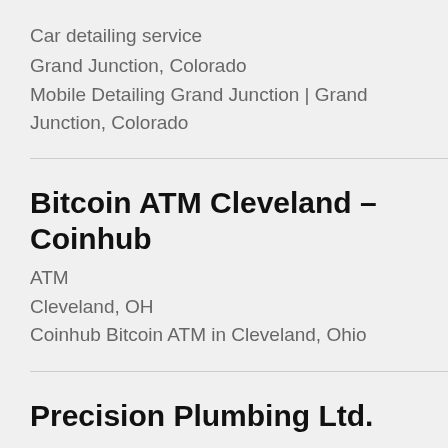Car detailing service
Grand Junction, Colorado
Mobile Detailing Grand Junction | Grand Junction, Colorado
Bitcoin ATM Cleveland – Coinhub
ATM
Cleveland, OH
Coinhub Bitcoin ATM in Cleveland, Ohio
Precision Plumbing Ltd.
Plumber